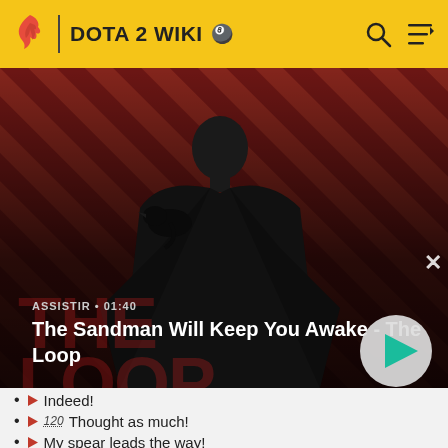DOTA 2 WIKI
[Figure (screenshot): Video thumbnail showing a dark-cloaked figure with a raven on shoulder, against a red diagonal-striped background. Title: The Sandman Will Keep You Awake - The Loop. Duration: 01:40. Play button visible.]
Indeed!
120 Thought as much!
My spear leads the way!
Nothing to it!
120 Clear a path!
240 Gods moving!